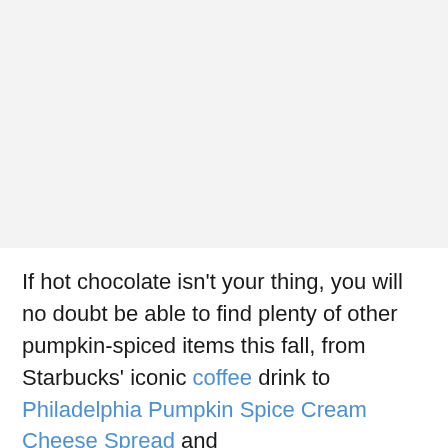If hot chocolate isn't your thing, you will no doubt be able to find plenty of other pumpkin-spiced items this fall, from Starbucks' iconic coffee drink to Philadelphia Pumpkin Spice Cream Cheese Spread and